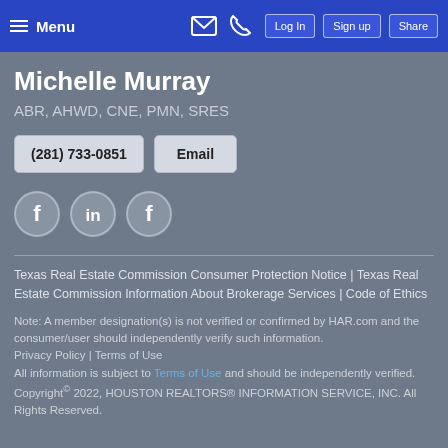Menu | Log In | Sign up | Share
Michelle Murray
ABR, AHWD, CNE, PMN, SRES
(281) 733-0851  Email
[Figure (illustration): Social media icons: Facebook, LinkedIn, Facebook]
Texas Real Estate Commission Consumer Protection Notice | Texas Real Estate Commission Information About Brokerage Services | Code of Ethics
Note: A member designation(s) is not verified or confirmed by HAR.com and the consumer/user should independently verify such information.
Privacy Policy | Terms of Use
All information is subject to Terms of Use and should be independently verified.
Copyright© 2022, HOUSTON REALTORS® INFORMATION SERVICE, INC. All Rights Reserved.